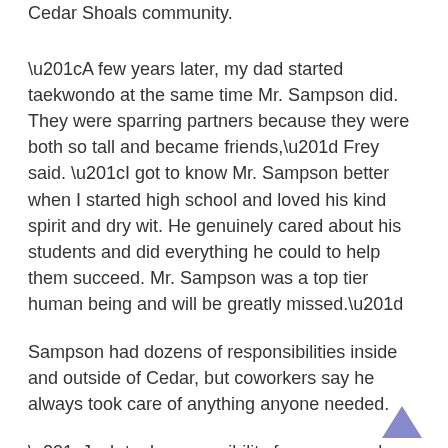learned the impact he felt on his students and the Cedar Shoals community.
“A few years later, my dad started taekwondo at the same time Mr. Sampson did. They were sparring partners because they were both so tall and became friends,” Frey said. “I got to know Mr. Sampson better when I started high school and loved his kind spirit and dry wit. He genuinely cared about his students and did everything he could to help them succeed. Mr. Sampson was a top tier human being and will be greatly missed.”
Sampson had dozens of responsibilities inside and outside of Cedar, but coworkers say he always took care of anything anyone needed.
“Josh took responsibility for everyone he met and